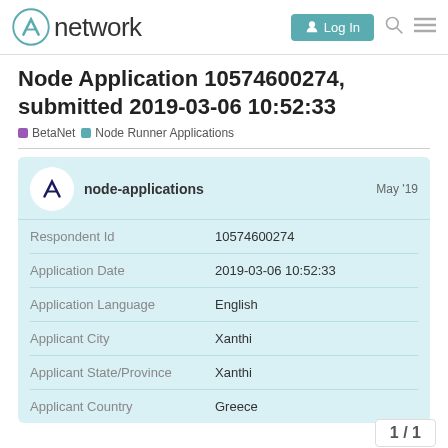network  Log In
Node Application 10574600274, submitted 2019-03-06 10:52:33
BetaNet  Node Runner Applications
| Field | Value |
| --- | --- |
| Respondent Id | 10574600274 |
| Application Date | 2019-03-06 10:52:33 |
| Application Language | English |
| Applicant City | Xanthi |
| Applicant State/Province | Xanthi |
| Applicant Country | Greece |
1 / 1